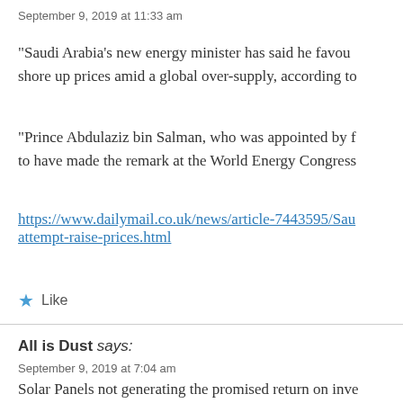September 9, 2019 at 11:33 am
“Saudi Arabia’s new energy minister has said he favours OPEC+ action to shore up prices amid a global over-supply, according to
“Prince Abdulaziz bin Salman, who was appointed by f… to have made the remark at the World Energy Congress
https://www.dailymail.co.uk/news/article-7443595/Sau… attempt-raise-prices.html
Like
All is Dust says:
September 9, 2019 at 7:04 am
Solar Panels not generating the promised return on inve…
https://www.bbc.co.uk/news/uk-england-49566130